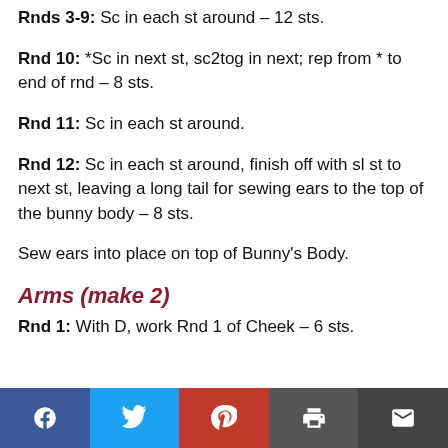Rnds 3-9: Sc in each st around – 12 sts.
Rnd 10: *Sc in next st, sc2tog in next; rep from * to end of rnd – 8 sts.
Rnd 11: Sc in each st around.
Rnd 12: Sc in each st around, finish off with sl st to next st, leaving a long tail for sewing ears to the top of the bunny body – 8 sts.
Sew ears into place on top of Bunny's Body.
Arms (make 2)
Rnd 1: With D, work Rnd 1 of Cheek – 6 sts.